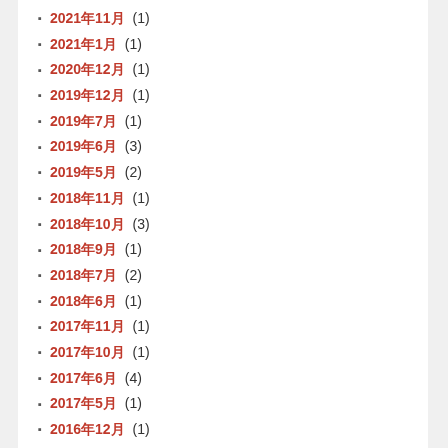2021年11月 (1)
2021年1月 (1)
2020年12月 (1)
2019年12月 (1)
2019年7月 (1)
2019年6月 (3)
2019年5月 (2)
2018年11月 (1)
2018年10月 (3)
2018年9月 (1)
2018年7月 (2)
2018年6月 (1)
2017年11月 (1)
2017年10月 (1)
2017年6月 (4)
2017年5月 (1)
2016年12月 (1)
2016年11月 (1)
2016年10月 (1)
2016年9月 (1)
2016年8月 (1)